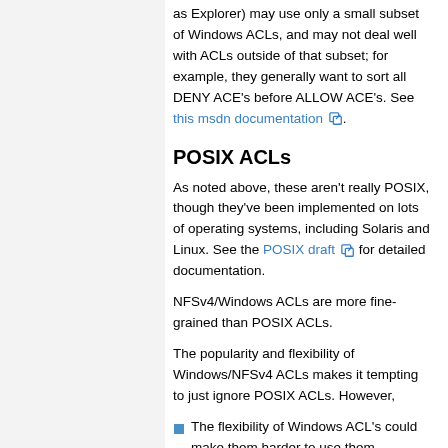as Explorer) may use only a small subset of Windows ACLs, and may not deal well with ACLs outside of that subset; for example, they generally want to sort all DENY ACE's before ALLOW ACE's. See this msdn documentation.
POSIX ACLs
As noted above, these aren't really POSIX, though they've been implemented on lots of operating systems, including Solaris and Linux. See the POSIX draft for detailed documentation.
NFSv4/Windows ACLs are more fine-grained than POSIX ACLs.
The popularity and flexibility of Windows/NFSv4 ACLs makes it tempting to just ignore POSIX ACLs. However,
The flexibility of Windows ACL's could make them harder to use them correctly. People with experience suggested that in practice users do have trouble. (Any references to